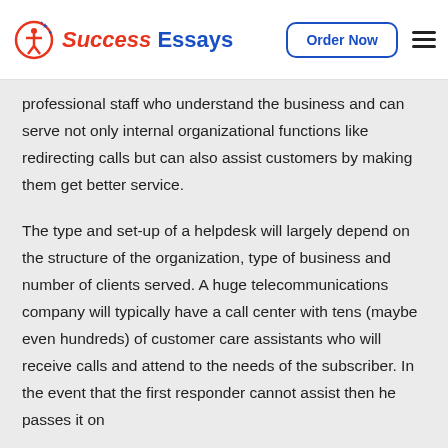Success Essays | Order Now
professional staff who understand the business and can serve not only internal organizational functions like redirecting calls but can also assist customers by making them get better service.
The type and set-up of a helpdesk will largely depend on the structure of the organization, type of business and number of clients served. A huge telecommunications company will typically have a call center with tens (maybe even hundreds) of customer care assistants who will receive calls and attend to the needs of the subscriber. In the event that the first responder cannot assist then he passes it on